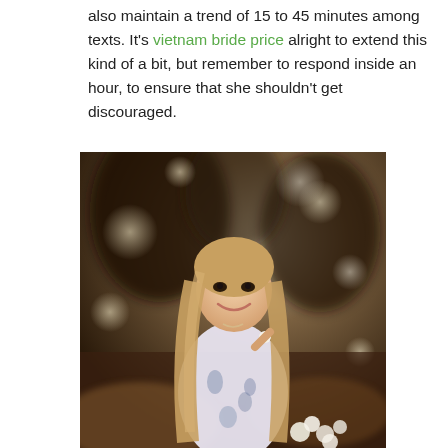also maintain a trend of 15 to 45 minutes among texts. It's vietnam bride price alright to extend this kind of a bit, but remember to respond inside an hour, to ensure that she shouldn't get discouraged.
[Figure (photo): A smiling young woman with long blonde hair wearing a floral dress, holding a small white flower, standing outdoors with blurred trees in the background.]